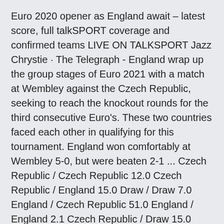Euro 2020 opener as England await – latest score, full talkSPORT coverage and confirmed teams LIVE ON TALKSPORT Jazz Chrystie · The Telegraph - England wrap up the group stages of Euro 2021 with a match at Wembley against the Czech Republic, seeking to reach the knockout rounds for the third consecutive Euro's. These two countries faced each other in qualifying for this tournament. England won comfortably at Wembley 5-0, but were beaten 2-1 ... Czech Republic / Czech Republic 12.0 Czech Republic / England 15.0 Draw / Draw 7.0 England / Czech Republic 51.0 England / England 2.1 Czech Republic / Draw 15.0 Draw / Czech Republic 13.0 Draw / England 4.2 England / Draw 14.0 England earned an impressive 5-0 win over the Czech Republic, as Raheem Sterling netted three to give the home side the perfect start to the Euro 2020 qualif